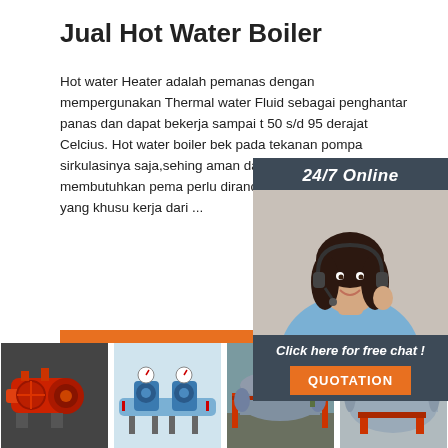Jual Hot Water Boiler
Hot water Heater adalah pemanas dengan mempergunakan Thermal water Fluid sebagai penghantar panas dan dapat bekerja sampai t 50 s/d 95 derajat Celcius. Hot water boiler bek pada tekanan pompa sirkulasinya saja,sehing aman dan alat-alat yang membutuhkan pema perlu dirancang dengan konstruksi yang khus kerja dari ...
[Figure (photo): Customer service representative with headset, with 24/7 Online label and Click here for free chat / QUOTATION button]
[Figure (photo): Orange Get Price button]
[Figure (photo): Strip of four product photos: red industrial burner, blue pump system, gray outdoor boiler, gray cylindrical tank]